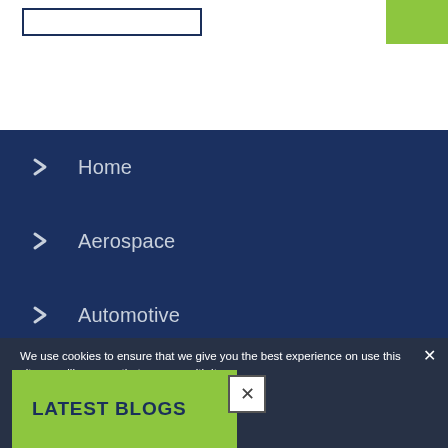[Figure (screenshot): Search box outline at top left of page header]
Home
Aerospace
Automotive
Catalysis
Ceramics
Coatings and solutions
Defense
We use cookies to ensure that we give you the best experience on use this site we will assume that you ppy with it.
Privacy policy
LATEST BLOGS